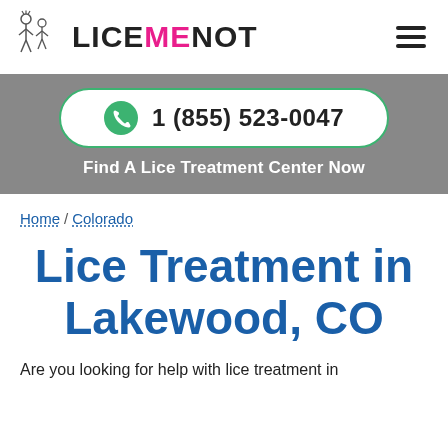[Figure (logo): LiceMeNot logo with stick figure illustration and bold text reading LICEMENOT where ME is in pink and the rest in black]
1 (855) 523-0047
Find A Lice Treatment Center Now
Home / Colorado
Lice Treatment in Lakewood, CO
Are you looking for help with lice treatment in